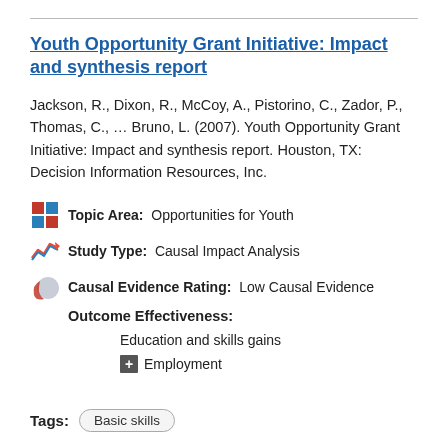Youth Opportunity Grant Initiative: Impact and synthesis report
Jackson, R., Dixon, R., McCoy, A., Pistorino, C., Zador, P., Thomas, C., … Bruno, L. (2007). Youth Opportunity Grant Initiative: Impact and synthesis report. Houston, TX: Decision Information Resources, Inc.
Topic Area: Opportunities for Youth
Study Type: Causal Impact Analysis
Causal Evidence Rating: Low Causal Evidence
Outcome Effectiveness:
Education and skills gains
Employment
Tags: Basic skills